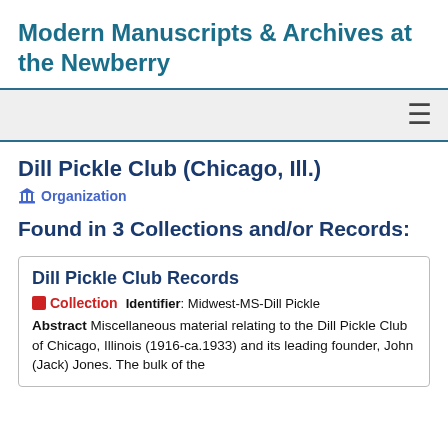Modern Manuscripts & Archives at the Newberry
Dill Pickle Club (Chicago, Ill.)
Organization
Found in 3 Collections and/or Records:
Dill Pickle Club Records
Collection   Identifier: Midwest-MS-Dill Pickle
Abstract Miscellaneous material relating to the Dill Pickle Club of Chicago, Illinois (1916-ca.1933) and its leading founder, John (Jack) Jones. The bulk of the